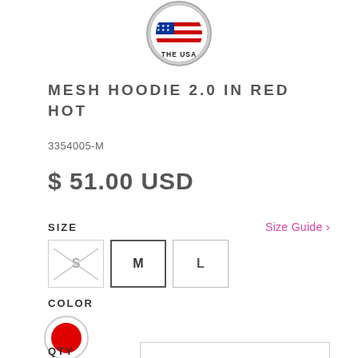[Figure (logo): Made in the USA badge/seal with American flag and stars border]
MESH HOODIE 2.0 IN RED HOT
3354005-M
$ 51.00 USD
SIZE
Size Guide >
S  M  L
COLOR
QTY